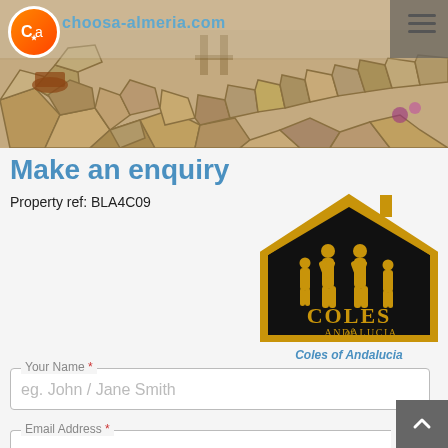[Figure (photo): Website header banner showing a stone patio/terrace with outdoor furniture, overlaid with a navigation bar containing a circular orange CA logo, the site URL 'choosa-almeria.com', and a hamburger menu icon.]
Make an enquiry
Property ref: BLA4C09
[Figure (logo): Coles of Andalucia logo: a black house silhouette with gold outline containing gold silhouettes of a family (two adults and two children), with 'COLES of ANDALUCIA' text in gold below.]
Coles of Andalucia
Your Name *
eg. John / Jane Smith
Email Address *